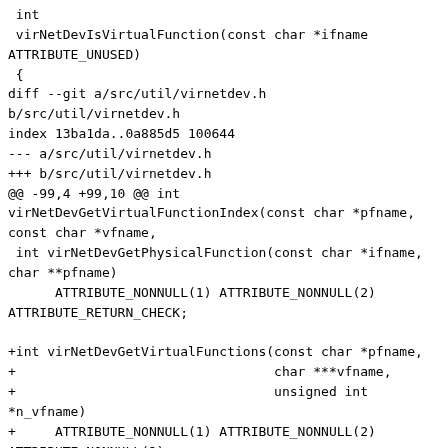int
 virNetDevIsVirtualFunction(const char *ifname ATTRIBUTE_UNUSED)
 {
diff --git a/src/util/virnetdev.h b/src/util/virnetdev.h
index 13ba1da..0a885d5 100644
--- a/src/util/virnetdev.h
+++ b/src/util/virnetdev.h
@@ -99,4 +99,10 @@ int virNetDevGetVirtualFunctionIndex(const char *pfname, const char *vfname,
 int virNetDevGetPhysicalFunction(const char *ifname, char **pfname)
        ATTRIBUTE_NONNULL(1) ATTRIBUTE_NONNULL(2) ATTRIBUTE_RETURN_CHECK;

+int virNetDevGetVirtualFunctions(const char *pfname,
+                                 char ***vfname,
+                                 unsigned int *n_vfname)
+     ATTRIBUTE_NONNULL(1) ATTRIBUTE_NONNULL(2) ATTRIBUTE_NONNULL(3)
+     ATTRIBUTE_RETURN_CHECK;
+
 #endif /* __VIR_NETDEV_H__ */
--
1.7.4.4